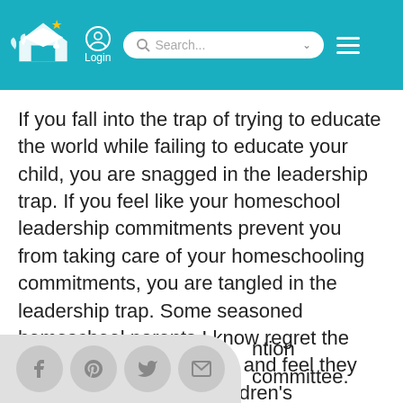Login | Search...
If you fall into the trap of trying to educate the world while failing to educate your child, you are snagged in the leadership trap. If you feel like your homeschool leadership commitments prevent you from taking care of your homeschooling commitments, you are tangled in the leadership trap. Some seasoned homeschool parents I know regret the years spent in leadership and feel they lost sight of their own children's education. They regret being distracted by their leadership positions and the convention committee.